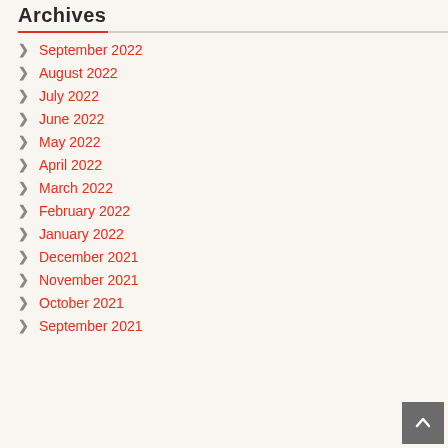Archives
September 2022
August 2022
July 2022
June 2022
May 2022
April 2022
March 2022
February 2022
January 2022
December 2021
November 2021
October 2021
September 2021